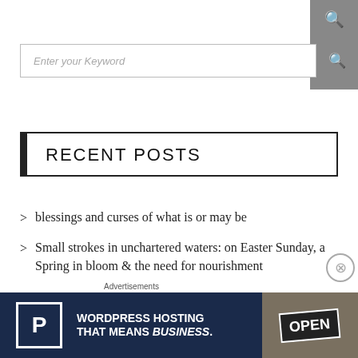[Figure (screenshot): Search bar with grey button and magnifying glass icon]
RECENT POSTS
blessings and curses of what is or may be
Small strokes in unchartered waters: on Easter Sunday, a Spring in bloom & the need for nourishment
year '21 of the 21st century
endless spirit and lessons from building a business
Advertisements
[Figure (screenshot): Advertisement banner: WordPress Hosting That Means BUSINESS. with P logo and Open sign image]